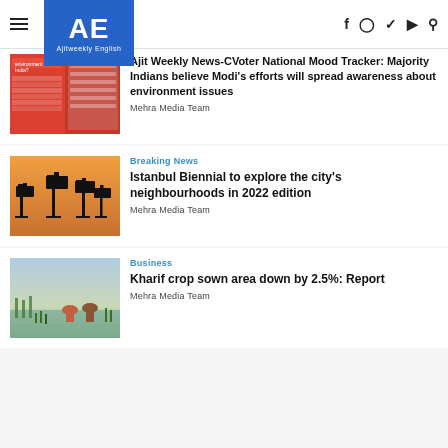AE Ajitweekly English
[Figure (screenshot): Thumbnail showing infographic with Modi and environment data table]
Ajit Weekly News-CVoter National Mood Tracker: Majority Indians believe Modi's efforts will spread awareness about environment issues
Mehra Media Team
[Figure (photo): Silhouettes of TV cameras on tripods against a sunset sky]
Breaking News
Istanbul Biennial to explore the city's neighbourhoods in 2022 edition
Mehra Media Team
[Figure (photo): Farmers planting rice in flooded paddy field]
Business
Kharif crop sown area down by 2.5%: Report
Mehra Media Team